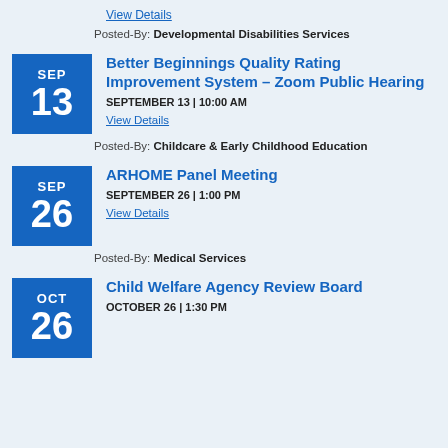View Details (link, top, partial)
Posted-By: Developmental Disabilities Services
Better Beginnings Quality Rating Improvement System – Zoom Public Hearing
SEPTEMBER 13 | 10:00 AM
View Details
Posted-By: Childcare & Early Childhood Education
ARHOME Panel Meeting
SEPTEMBER 26 | 1:00 PM
View Details
Posted-By: Medical Services
Child Welfare Agency Review Board
OCTOBER 26 | 1:30 PM